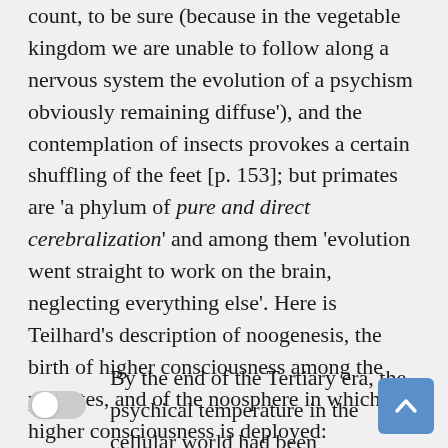count, to be sure (because in the vegetable kingdom we are unable to follow along a nervous system the evolution of a psychism obviously remaining diffuse'), and the contemplation of insects provokes a certain shuffling of the feet [p. 153]; but primates are 'a phylum of pure and direct cerebralization' and among them 'evolution went straight to work on the brain, neglecting everything else'. Here is Teilhard's description of noogenesis, the birth of higher consciousness among the primates, and of the noosphere in which that higher consciousness is deployed:
By the end of the Tertiary era, the psychical temperature in the cellular world had been